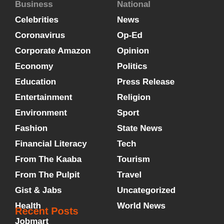Business
National
Celebrities
News
Coronavirus
Op-Ed
Corporate Amazon
Opinion
Economy
Politics
Education
Press Release
Entertainment
Religion
Environment
Sport
Fashion
State News
Financial Literacy
Tech
From The Kaaba
Tourism
From The Pulpit
Travel
Gist & Jabs
Uncategorized
Health
World News
Jobmart
Recent Posts